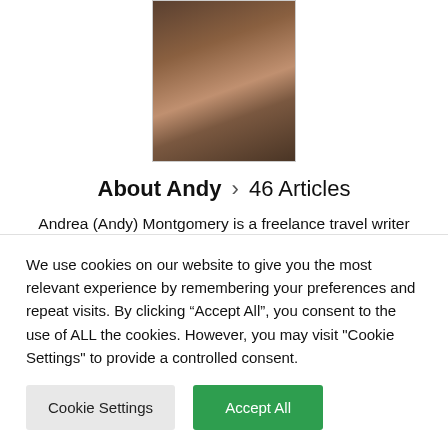[Figure (photo): Portrait photo of Andy Montgomery, partially cropped at top]
About Andy › 46 Articles
Andrea (Andy) Montgomery is a freelance travel writer and co-owner of Buzz Trips and The Real Tenerife series of travel websites and travel guides. Author of the Pocket Rough Guide Tenerife & La Gomera, and co-author of The Real Tenerife and Walk This Way Tenerife, Andy is an award-winning member of the British Guild of Travel Writers; former Tenerife
We use cookies on our website to give you the most relevant experience by remembering your preferences and repeat visits. By clicking “Accept All”, you consent to the use of ALL the cookies. However, you may visit "Cookie Settings" to provide a controlled consent.